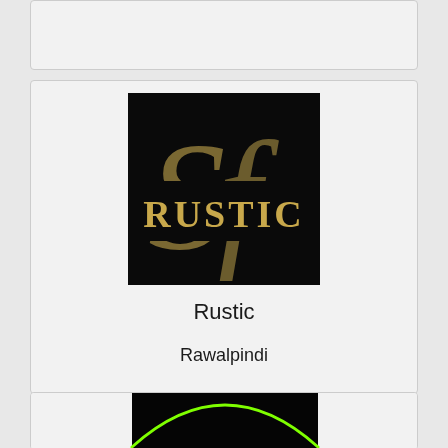[Figure (logo): Top card area - empty grey card at top of page]
[Figure (logo): Rustic logo - black square background with gold/tan large cursive letters behind and RUSTIC text in gold serif font on a black banner across the middle]
Rustic
Rawalpindi
[Figure (logo): Bottom card partially visible - black background with a green arc/curve visible at bottom of page]